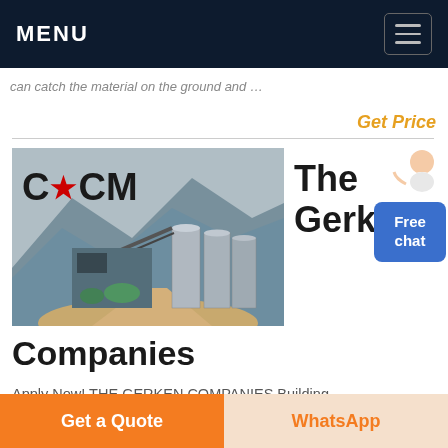MENU
can catch the material on the ground and
Get Price
[Figure (photo): Industrial quarry/mining facility with silos, conveyors, and mountains in the background. CCM logo with red star overlaid on image.]
The Gerken Companies
Apply Now! THE GERKEN COMPANIES Building
Get a Quote
WhatsApp